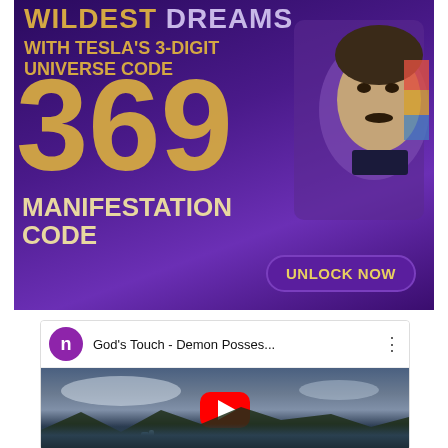[Figure (infographic): Promotional advertisement banner with dark purple background featuring text 'WILDEST DREAMS WITH TESLA'S 3-DIGIT UNIVERSE CODE', large golden '369' numerals, illustrated face of Nikola Tesla, text 'MANIFESTATION CODE', and 'UNLOCK NOW' button]
[Figure (screenshot): YouTube video embed thumbnail showing 'God's Touch - Demon Posses...' with purple avatar icon 'n', three-dot menu, and landscape thumbnail of waterfall/Iceland scenery with YouTube play button]